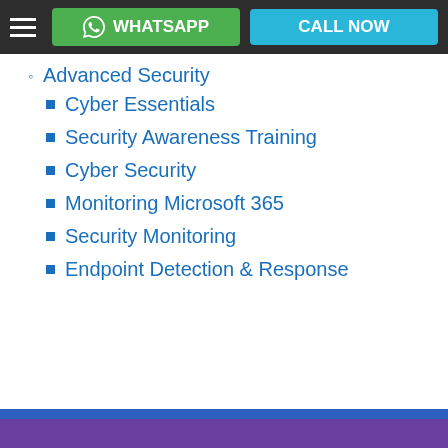WHATSAPP  CALL NOW
Advanced Security
Cyber Essentials
Security Awareness Training
Cyber Security
Monitoring Microsoft 365
Security Monitoring
Endpoint Detection & Response